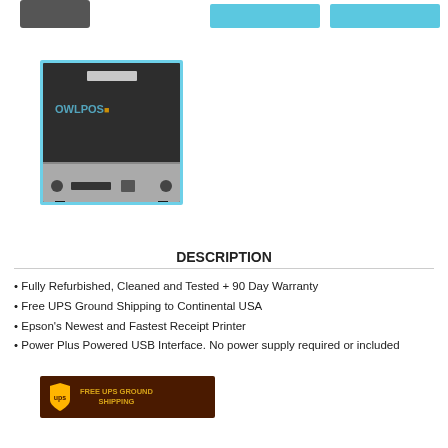[Figure (photo): Partial top thumbnails row with dark product image on left and two blue-highlighted thumbnails on right]
[Figure (photo): OWLPOS branded thermal receipt printer shown in blue-bordered thumbnail view — dark gray body with silver bottom panel, USB port, and control knobs]
[Figure (infographic): UPS FREE UPS GROUND SHIPPING banner — dark brown background with UPS shield logo and gold text]
DESCRIPTION
Fully Refurbished, Cleaned and Tested + 90 Day Warranty
Free UPS Ground Shipping to Continental USA
Epson's Newest and Fastest Receipt Printer
Power Plus Powered USB Interface. No power supply required or included